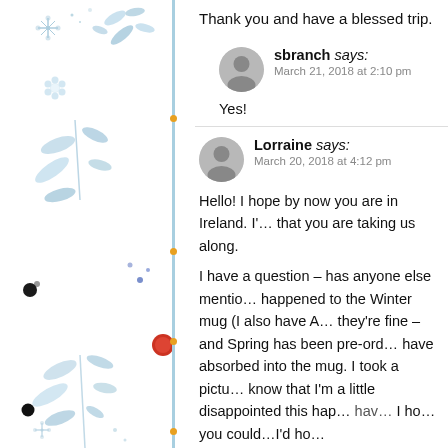Thank you and have a blessed trip.
sbranch says:
March 21, 2018 at 2:10 pm

Yes!
Lorraine says:
March 20, 2018 at 4:12 pm

Hello! I hope by now you are in Ireland. I'… that you are taking us along.

I have a question – has anyone else mentio… happened to the Winter mug (I also have A… they’re fine – and Spring has been pre-ord… have absorbed into the mug. I took a pictu… know that I’m a little disappointed this hap…